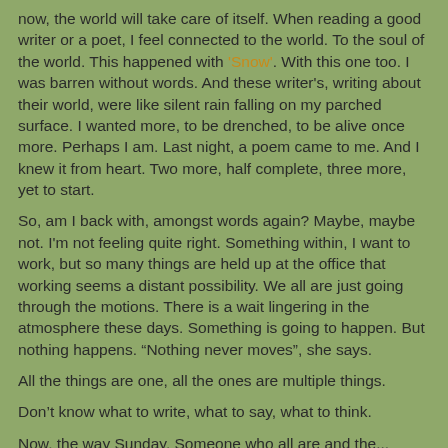now, the world will take care of itself. When reading a good writer or a poet, I feel connected to the world. To the soul of the world. This happened with 'Snow'. With this one too. I was barren without words. And these writer's, writing about their world, were like silent rain falling on my parched surface. I wanted more, to be drenched, to be alive once more. Perhaps I am. Last night, a poem came to me. And I knew it from heart. Two more, half complete, three more, yet to start.
So, am I back with, amongst words again? Maybe, maybe not. I'm not feeling quite right. Something within, I want to work, but so many things are held up at the office that working seems a distant possibility. We all are just going through the motions. There is a wait lingering in the atmosphere these days. Something is going to happen. But nothing happens. “Nothing never moves”, she says.
All the things are one, all the ones are multiple things.
Don’t know what to write, what to say, what to think.
Now, the way Sunday, Someone who all are and the...